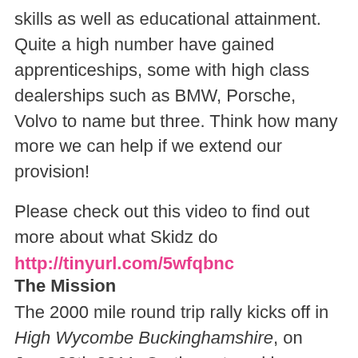skills as well as educational attainment. Quite a high number have gained apprenticeships, some with high class dealerships such as BMW, Porsche, Volvo to name but three. Think how many more we can help if we extend our provision!
Please check out this video to find out more about what Skidz do
http://tinyurl.com/5wfqbnc
The Mission
The 2000 mile round trip rally kicks off in High Wycombe Buckinghamshire, on June 30th 2011. On the outward journey we will be taking the Ferry from Dover and over the 3 days will travel through 6 countries from the windmills of Rotterdam, through the volcanic lakes of the Eifel mountains to the famous German race track the Nurburgring ring named the ‘Green Hell’ by famous racing car driver Jackie Stewart. The outward leg of the rally ends in